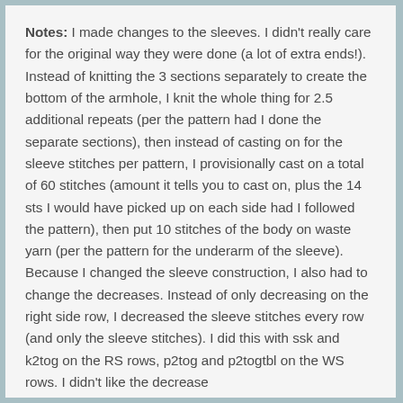Notes: I made changes to the sleeves. I didn't really care for the original way they were done (a lot of extra ends!). Instead of knitting the 3 sections separately to create the bottom of the armhole, I knit the whole thing for 2.5 additional repeats (per the pattern had I done the separate sections), then instead of casting on for the sleeve stitches per pattern, I provisionally cast on a total of 60 stitches (amount it tells you to cast on, plus the 14 sts I would have picked up on each side had I followed the pattern), then put 10 stitches of the body on waste yarn (per the pattern for the underarm of the sleeve). Because I changed the sleeve construction, I also had to change the decreases. Instead of only decreasing on the right side row, I decreased the sleeve stitches every row (and only the sleeve stitches). I did this with ssk and k2tog on the RS rows, p2tog and p2togtbl on the WS rows. I didn't like the decrease